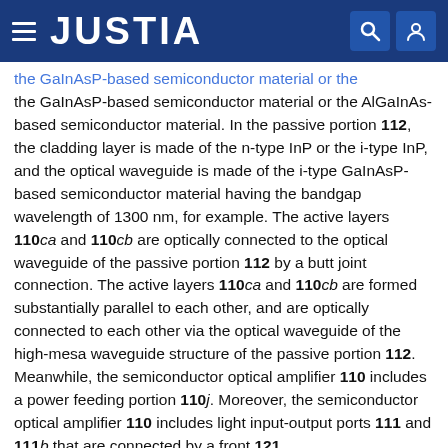JUSTIA
the GaInAsP-based semiconductor material or the AlGaInAs-based semiconductor material. In the passive portion 112, the cladding layer is made of the n-type InP or the i-type InP, and the optical waveguide is made of the i-type GaInAsP-based semiconductor material having the bandgap wavelength of 1300 nm, for example. The active layers 110ca and 110cb are optically connected to the optical waveguide of the passive portion 112 by a butt joint connection. The active layers 110ca and 110cb are formed substantially parallel to each other, and are optically connected to each other via the optical waveguide of the high-mesa waveguide structure of the passive portion 112. Meanwhile, the semiconductor optical amplifier 110 includes a power feeding portion 110j. Moreover, the semiconductor optical amplifier 110 includes light input-output ports 111 and 111b that are connected by a front 121...